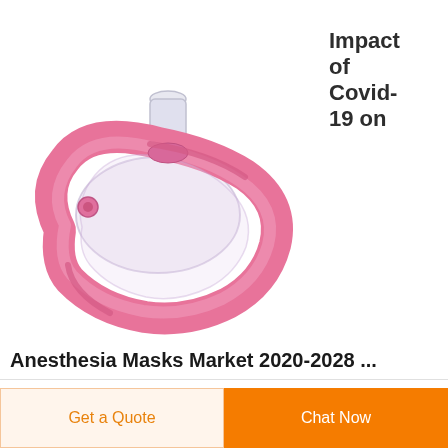[Figure (photo): A pink anesthesia mask (face mask) with a transparent connector port on top, photographed on a white background.]
Impact of Covid-19 on
Anesthesia Masks Market 2020-2028 ...
Get a Quote
Chat Now